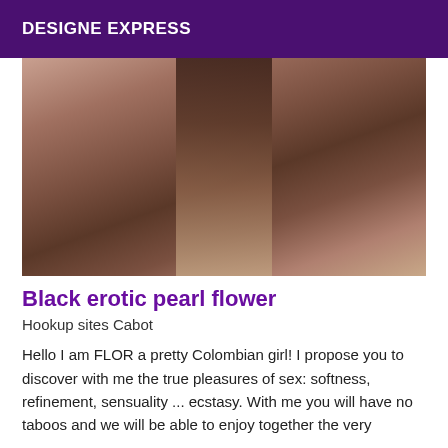DESIGNE EXPRESS
[Figure (photo): Close-up photo of human body, warm brown skin tones, abstract composition.]
Black erotic pearl flower
Hookup sites Cabot
Hello I am FLOR a pretty Colombian girl! I propose you to discover with me the true pleasures of sex: softness, refinement, sensuality ... ecstasy. With me you will have no taboos and we will be able to enjoy together the very